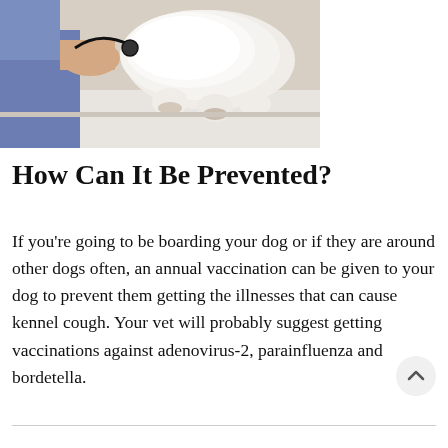[Figure (photo): A veterinarian in blue scrubs examining a small fluffy white dog on a white examination table.]
How Can It Be Prevented?
If you're going to be boarding your dog or if they are around other dogs often, an annual vaccination can be given to your dog to prevent them getting the illnesses that can cause kennel cough. Your vet will probably suggest getting vaccinations against adenovirus-2, parainfluenza and bordetella.